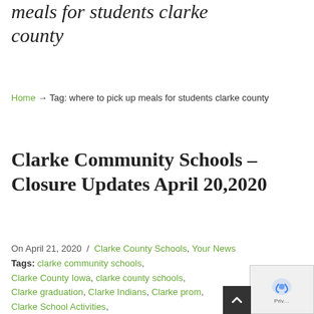meals for students clarke county
Home → Tag: where to pick up meals for students clarke county
Clarke Community Schools – Closure Updates April 20,2020
On April 21, 2020 /
Clarke County Schools, Your News
Tags: clarke community schools, Clarke County Iowa, clarke county schools, Clarke graduation, Clarke Indians, Clarke prom, Clarke School Activities, Clarke School Announcements, coronavirus,